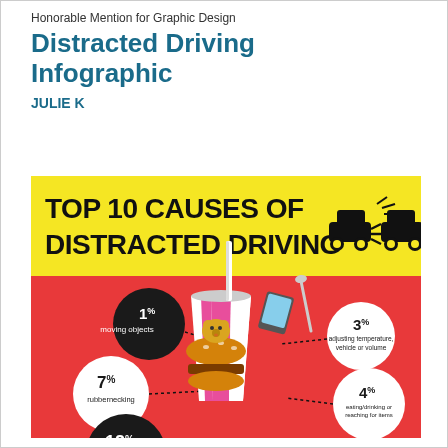Honorable Mention for Graphic Design
Distracted Driving Infographic
JULIE K
[Figure (infographic): Infographic titled 'TOP 10 CAUSES OF DISTRACTED DRIVING' with a yellow header band, two cartoon cars colliding icon, and a red background section showing illustrated causes with percentage labels: 1% moving objects, 3% adjusting temperature/vehicle or volume, 7% rubbernecking, 4% eating/drinking or reaching for items, 12% (partially visible at bottom). Central illustration shows a large drink cup, burger with dog on top, phone, and other distracting items.]